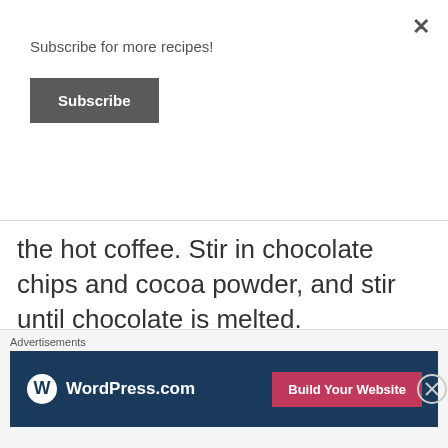Subscribe for more recipes!
Subscribe
the hot coffee. Stir in chocolate chips and cocoa powder, and stir until chocolate is melted.
Stir ½ cup of sugar until it is creamy and dissolved, a couple minutes. Mix oil in well. Remove from heat and set aside.
[Figure (other): WordPress.com advertisement banner with logo and 'Build Your Website' button]